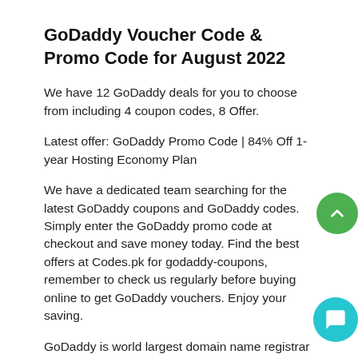GoDaddy Voucher Code & Promo Code for August 2022
We have 12 GoDaddy deals for you to choose from including 4 coupon codes, 8 Offer.
Latest offer: GoDaddy Promo Code | 84% Off 1-year Hosting Economy Plan
We have a dedicated team searching for the latest GoDaddy coupons and GoDaddy codes. Simply enter the GoDaddy promo code at checkout and save money today. Find the best offers at Codes.pk for godaddy-coupons, remember to check us regularly before buying online to get GoDaddy vouchers. Enjoy your saving.
GoDaddy is world largest domain name registrar and web hosting provider. GoDaddy was born to give you an easy, affordable way to get your ideas online. It has more than 12 million customers around the world, but the goal is much the same and it is to serve you with great options. According to